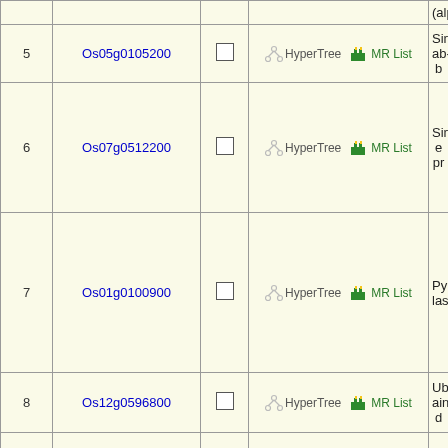| # | Gene ID | Select | Links | Description |
| --- | --- | --- | --- | --- |
| 5 | Os05g0105200 |  | HyperTree | MR List | Sim ab-... |
| 6 | Os07g0512200 |  | HyperTree | MR List | Sim e pr... |
| 7 | Os01g0100900 |  | HyperTree | MR List | Pyri lase... |
| 8 | Os12g0596800 |  | HyperTree | MR List | Ubi ain d... |
| 9 | Os03g0718000 |  | HyperTree | MR List | Sim beta... |